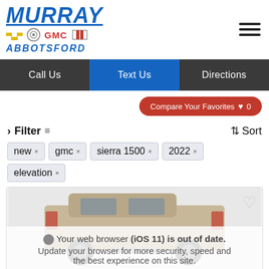[Figure (logo): Murray Chevrolet Buick GMC Cadillac Abbotsford dealership logo with brand icons]
Call Us  Text Us  Directions
Compare Your Favorites ♥ 0
› Filter  ⇅ Sort
new ×
gmc ×
sierra 1500 ×
2022 ×
elevation ×
[Figure (photo): GMC Sierra 1500 Elevation vehicle photo shown from rear three-quarter angle]
Your web browser (iOS 11) is out of date. Update your browser for more security, speed and the best experience on this site.